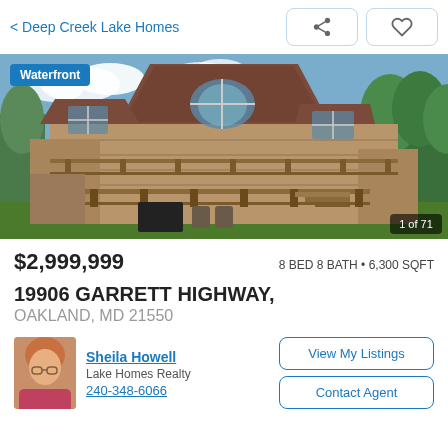< Deep Creek Lake Homes
[Figure (photo): Large waterfront lakehouse with brown shingle roof, stone/brick exterior, multiple decks, large windows, and exterior stairs. Green trees and blue sky in background. Badge shows 'Waterfront'. Counter shows '1 of 71'.]
$2,999,999    8 BED 8 BATH • 6,300 SQFT
19906 GARRETT HIGHWAY,
OAKLAND, MD 21550
Sheila Howell
Lake Homes Realty
240-348-6066
View My Listings
Contact Agent